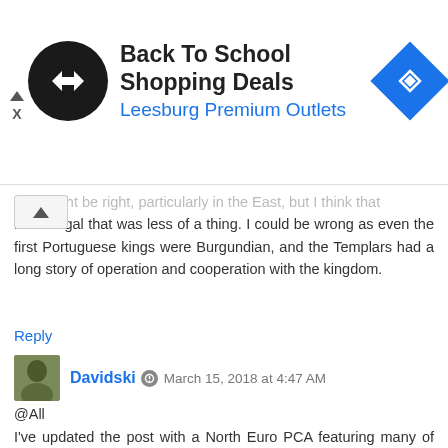[Figure (infographic): Advertisement banner for Back To School Shopping Deals at Leesburg Premium Outlets, with a black circular logo with arrow icon on left and blue diamond navigation icon on right.]
You might be right, particularly in the East, but I think that in Portugal that was less of a thing. I could be wrong as even the first Portuguese kings were Burgundian, and the Templars had a long story of operation and cooperation with the kingdom.
Reply
Davidski  March 15, 2018 at 4:47 AM
@All
I've updated the post with a North Euro PCA featuring many of the German Medieval samples, but obviously only those that qualified as North Europeans. Almost all of them are males with no signs of ACD.
They're obviously very Germanic genetically, but also